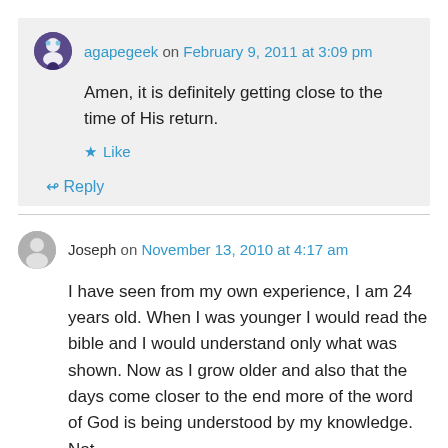agapegeek on February 9, 2011 at 3:09 pm
Amen, it is definitely getting close to the time of His return.
★ Like
↳ Reply
Joseph on November 13, 2010 at 4:17 am
I have seen from my own experience, I am 24 years old. When I was younger I would read the bible and I would understand only what was shown. Now as I grow older and also that the days come closer to the end more of the word of God is being understood by my knowledge. Not